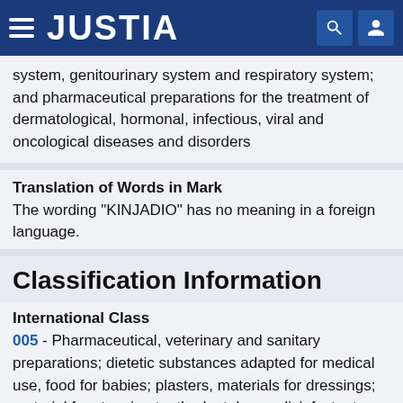JUSTIA
system, genitourinary system and respiratory system; and pharmaceutical preparations for the treatment of dermatological, hormonal, infectious, viral and oncological diseases and disorders
Translation of Words in Mark
The wording "KINJADIO" has no meaning in a foreign language.
Classification Information
International Class
005 - Pharmaceutical, veterinary and sanitary preparations; dietetic substances adapted for medical use, food for babies; plasters, materials for dressings; material for stopping teeth, dental wax; disinfectants; preparations for destroying vermin; fungicides,